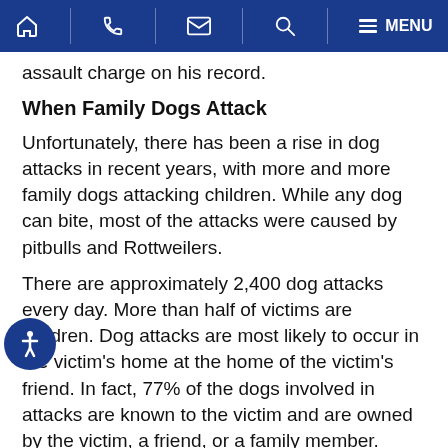Navigation bar with home, phone, email, search, and menu icons
assault charge on his record.
When Family Dogs Attack
Unfortunately, there has been a rise in dog attacks in recent years, with more and more family dogs attacking children. While any dog can bite, most of the attacks were caused by pitbulls and Rottweilers.
There are approximately 2,400 dog attacks every day. More than half of victims are children. Dog attacks are most likely to occur in the victim's home at the home of the victim's friend. In fact, 77% of the dogs involved in attacks are known to the victim and are owned by the victim, a friend, or a family member.